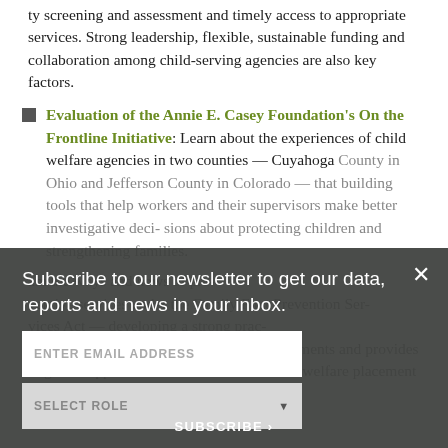ty screening and assessment and timely access to appropriate services. Strong leadership, flexible, sustainable funding and collaboration among child-serving agencies are also key factors.
Evaluation of the Annie E. Casey Foundation's On the Frontline Initiative: Learn about the experiences of child welfare agencies in two counties — Cuyahoga County in Ohio and Jefferson County in Colorado — that b[dimmed: uilding tools that help workers and their supervisors make better investigative decisions about protecting children and strengthening families.]
[dimmed: ...learn the whys and hows of preventive services under the Family First Prevention Services Act...developing a strong practice model that aligns with the law's requirements and provides targeted support for children at risk of child welfare placement and their families.]
[Figure (other): Newsletter subscription overlay modal with dark grey/charcoal background. Contains text: 'Subscribe to our newsletter to get our data, reports and news in your inbox.' with an X close button, an ENTER EMAIL ADDRESS input field, a SELECT ROLE dropdown, and a SUBSCRIBE button.]